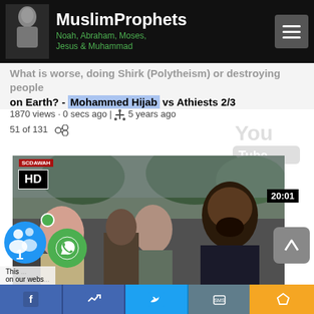MuslimProphets — Noah, Abraham, Moses, Jesus & Muhammad
What is worse, doing Shirk (Polytheism) or destroying people on Earth? - Mohammed Hijab vs Athiests 2/3
1870 views · 0 secs ago | 5 years ago
51 of 131
[Figure (screenshot): YouTube video thumbnail showing Mohammed Hijab debating atheists outdoors, HD badge and SCDAWAH label visible, duration 20:01]
W... worse, believing the Quran or living in Agnost...
This ... on our webs...
[Figure (infographic): Social sharing bar with notification badge showing '1', WhatsApp icon, Facebook share, Facebook like, Twitter, SMS, and more buttons]